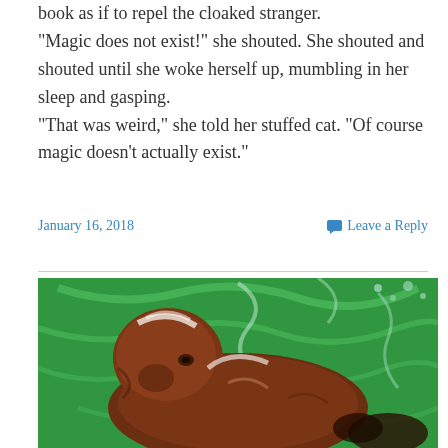book as if to repel the cloaked stranger.
“Magic does not exist!” she shouted. She shouted and shouted until she woke herself up, mumbling in her sleep and gasping.
“That was weird,” she told her stuffed cat. “Of course magic doesn’t actually exist.”
January 16, 2018    Leave a Reply
[Figure (photo): A painting of a brown bear swimming or moving through vivid green water, with textured brushstrokes creating the background.]